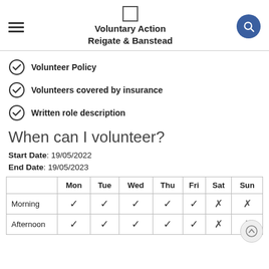Voluntary Action Reigate & Banstead
Volunteer Policy
Volunteers covered by insurance
Written role description
When can I volunteer?
Start Date: 19/05/2022
End Date: 19/05/2023
|  | Mon | Tue | Wed | Thu | Fri | Sat | Sun |
| --- | --- | --- | --- | --- | --- | --- | --- |
| Morning | ✓ | ✓ | ✓ | ✓ | ✓ | ✗ | ✗ |
| Afternoon | ✓ | ✓ | ✓ | ✓ | ✓ | ✗ | ✗ |